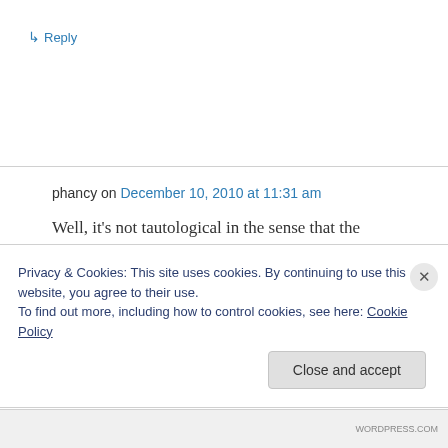↳ Reply
phancy on December 10, 2010 at 11:31 am
Well, it's not tautological in the sense that the pressure differential explanation at least rules out other explanations, e.g., it was blown here by
Privacy & Cookies: This site uses cookies. By continuing to use this website, you agree to their use.
To find out more, including how to control cookies, see here: Cookie Policy
Close and accept